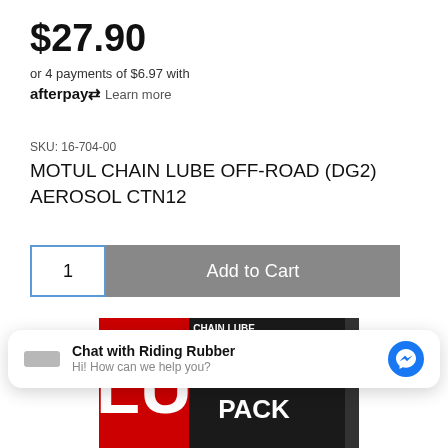$27.90
or 4 payments of $6.97 with afterpay Learn more
SKU: 16-704-00
MOTUL CHAIN LUBE OFF-ROAD (DG2) AEROSOL CTN12
[Figure (screenshot): Add to cart UI with quantity box showing 1 and grey Add to Cart button]
[Figure (photo): Motul Off Road Chain Pack product box in black, red, and orange packaging]
Chat with Riding Rubber
Hi! How can we help you?